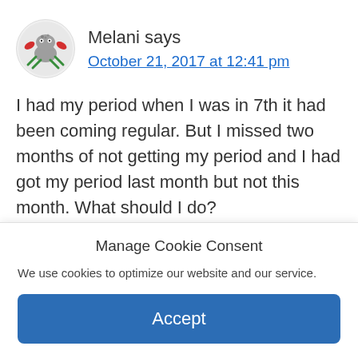Melani says
October 21, 2017 at 12:41 pm
I had my period when I was in 7th it had been coming regular. But I missed two months of not getting my period and I had got my period last month but not this month. What should I do?
Reply
Manage Cookie Consent
We use cookies to optimize our website and our service.
Accept